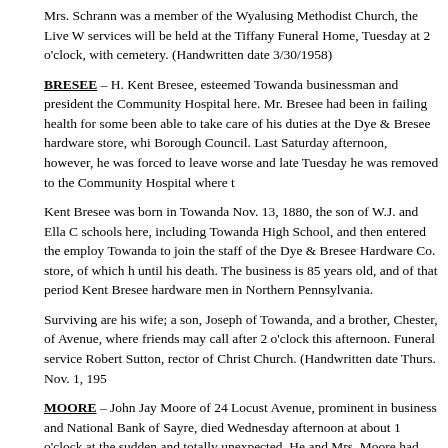Mrs. Schrann was a member of the Wyalusing Methodist Church, the Live W services will be held at the Tiffany Funeral Home, Tuesday at 2 o'clock, with cemetery. (Handwritten date 3/30/1958)
BRESEE – H. Kent Bresee, esteemed Towanda businessman and president the Community Hospital here. Mr. Bresee had been in failing health for some been able to take care of his duties at the Dye & Bresee hardware store, whi Borough Council. Last Saturday afternoon, however, he was forced to leave worse and late Tuesday he was removed to the Community Hospital where t
Kent Bresee was born in Towanda Nov. 13, 1880, the son of W.J. and Ella C schools here, including Towanda High School, and then entered the employ Towanda to join the staff of the Dye & Bresee Hardware Co. store, of which h until his death. The business is 85 years old, and of that period Kent Bresee hardware men in Northern Pennsylvania.
Surviving are his wife; a son, Joseph of Towanda, and a brother, Chester, of Avenue, where friends may call after 2 o'clock this afternoon. Funeral service Robert Sutton, rector of Christ Church. (Handwritten date Thurs. Nov. 1, 195
MOORE – John Jay Moore of 24 Locust Avenue, prominent in business and National Bank of Sayre, died Wednesday afternoon at about 1 o'clock at the sudden and totally unexpected. He and Mrs. Moore had gone to Carlisle, Pa He was taken ill there on Sunday, but seemed to be improving and returned took him to the hospital in Waverly and he died in his room there not long aft
When he left here for Carlisle, Mr. Moore appeared to be in his usual health, activities in the community. Word of his passing came as a distinct shock to h
Mr. Moore was born Dec. 13, 1897, at Syracuse, the son of Dr. John Jay Mo New York City during his early manhood, and during World War I served in th